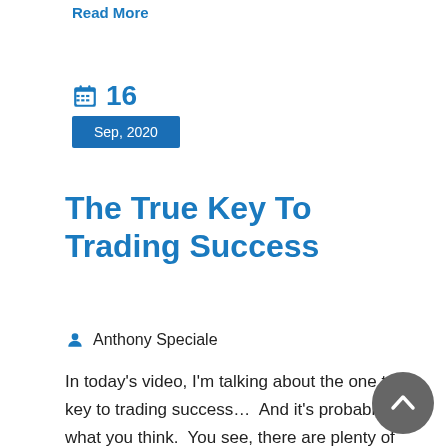Read More
16
Sep, 2020
The True Key To Trading Success
Anthony Speciale
In today's video, I'm talking about the one true key to trading success…  And it's probably not what you think.  You see, there are plenty of really smart people who get into trading… and don't last.  Likewise, there are tons of traders who develop